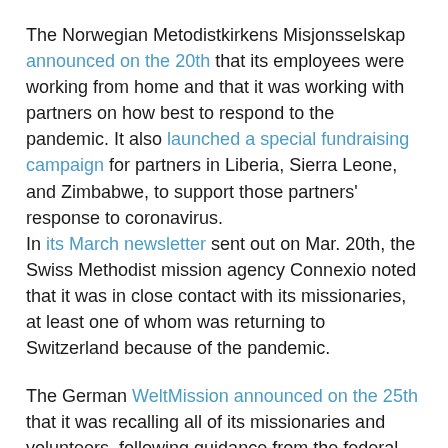The Norwegian Metodistkirkens Misjonsselskap announced on the 20th that its employees were working from home and that it was working with partners on how best to respond to the pandemic. It also launched a special fundraising campaign for partners in Liberia, Sierra Leone, and Zimbabwe, to support those partners' response to coronavirus.
In its March newsletter sent out on Mar. 20th, the Swiss Methodist mission agency Connexio noted that it was in close contact with its missionaries, at least one of whom was returning to Switzerland because of the pandemic.
The German WeltMission announced on the 25th that it was recalling all of its missionaries and volunteers, following guidance from the federal government. At the time of the announcement, WeltMission was still working with the German government to arrange the return of two missionaries stranded in Namibia, which had canceled all flights to Germany.
The Swiss UMC also reported on Mar. 26 on the impacts of